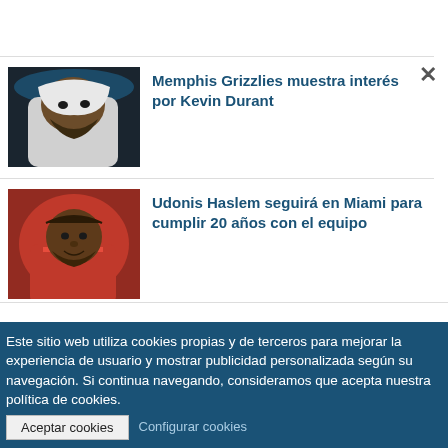[Figure (photo): Basketball player with white towel draped over head, looking upward, sports arena background]
Memphis Grizzlies muestra interés por Kevin Durant
[Figure (photo): Basketball player in red uniform, looking forward, red background]
Udonis Haslem seguirá en Miami para cumplir 20 años con el equipo
Este sitio web utiliza cookies propias y de terceros para mejorar la experiencia de usuario y mostrar publicidad personalizada según su navegación. Si continua navegando, consideramos que acepta nuestra política de cookies.